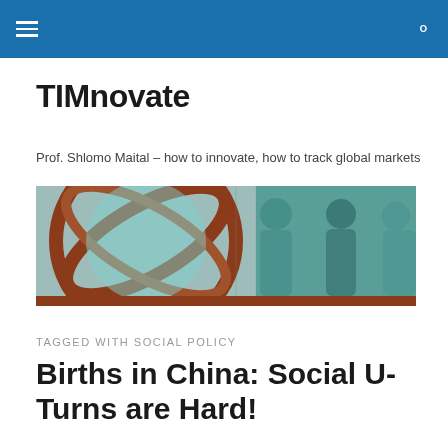TIMnovate
TIMnovate
Prof. Shlomo Maital – how to innovate, how to track global markets
[Figure (illustration): Website banner showing a globe armillary sphere on the left and a teal-tinted photo of people in business conversation on the right]
TAGGED WITH SOCIAL POLICY
Births in China: Social U-Turns are Hard!